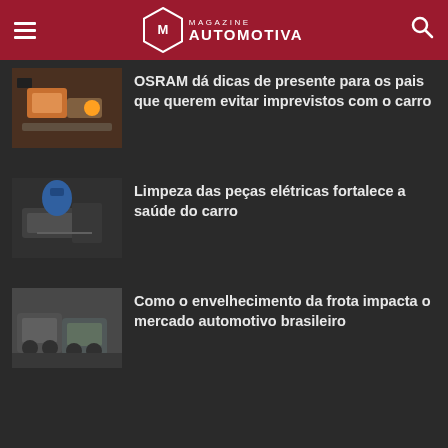Magazine Automotiva
OSRAM dá dicas de presente para os pais que querem evitar imprevistos com o carro
Limpeza das peças elétricas fortalece a saúde do carro
Como o envelhecimento da frota impacta o mercado automotivo brasileiro